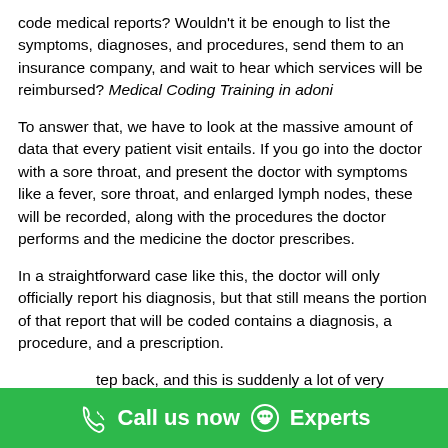code medical reports? Wouldn't it be enough to list the symptoms, diagnoses, and procedures, send them to an insurance company, and wait to hear which services will be reimbursed? Medical Coding Training in adoni
To answer that, we have to look at the massive amount of data that every patient visit entails. If you go into the doctor with a sore throat, and present the doctor with symptoms like a fever, sore throat, and enlarged lymph nodes, these will be recorded, along with the procedures the doctor performs and the medicine the doctor prescribes.
In a straightforward case like this, the doctor will only officially report his diagnosis, but that still means the portion of that report that will be coded contains a diagnosis, a procedure, and a prescription.
tep back, and this is suddenly a lot of very specific information. And that's just for a relatively simple doctor's visit. What happens when a patient comes into the doctor with a complicated
[Figure (logo): WhatsApp icon button (green circle with white phone/chat icon)]
Call us now  Experts